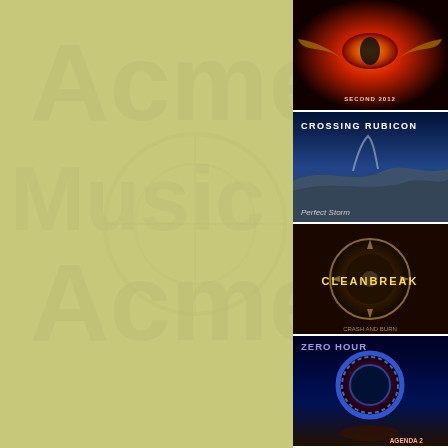(Log in to See/Edit your lists)
Search ebay
• Buy-It-Now Items
• Auctions
• Best Offer Listings
Buy-It-Now Items
Auctions
Best Offer Listings
Category: Pomp/Aor
Year: 2003
Label: AV Records
Catalog Number:
[Figure (photo): Album cover with fiery eye and wings imagery]
[Figure (photo): Crossing Rubicon - Perfect Storm album cover with stormy ocean cliffs]
[Figure (photo): Cleanbreak album cover with circular saw blade]
[Figure (photo): Zero Hour - Agenda 2 album cover with circular portal]